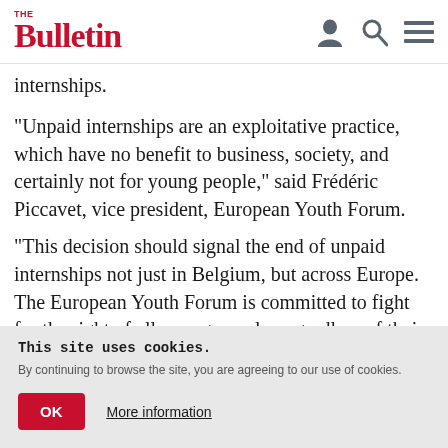The Bulletin
internships.
“Unpaid internships are an exploitative practice, which have no benefit to business, society, and certainly not for young people,” said Frédéric Piccavet, vice president, European Youth Forum.
“This decision should signal the end of unpaid internships not just in Belgium, but across Europe. The European Youth Forum is committed to fight for the right of all young people, regardless of their
This site uses cookies. By continuing to browse the site, you are agreeing to our use of cookies.